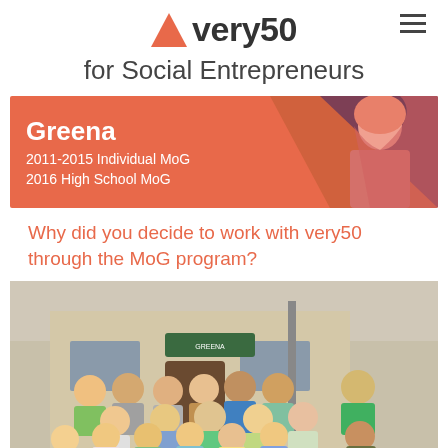very50 for Social Entrepreneurs
[Figure (photo): Banner with orange background showing person in hijab speaking, with text: Greena, 2011-2015 Individual MoG, 2016 High School MoG]
Why did you decide to work with very50 through the MoG program?
[Figure (photo): Group photo of approximately 20 people posing in front of a building with a sign reading GREENA]